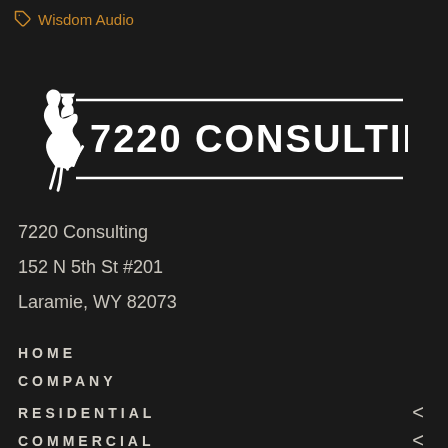Wisdom Audio
[Figure (logo): 7220 Consulting logo with Wyoming bucking horse icon and text '7220 CONSULTING' between two horizontal lines]
7220 Consulting
152 N 5th St #201
Laramie, WY 82073
HOME
COMPANY
RESIDENTIAL
COMMERCIAL
BLOG